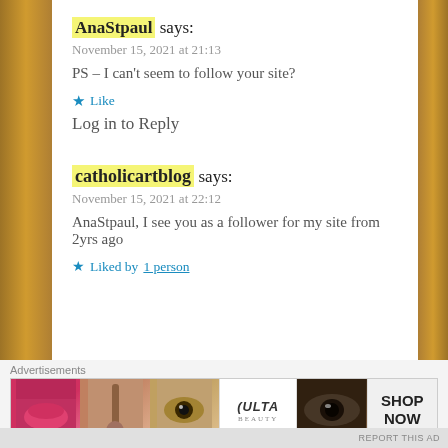AnaStpaul says:
November 15, 2021 at 21:13
PS – I can't seem to follow your site?
★ Like
Log in to Reply
catholicartblog says:
November 15, 2021 at 22:12
AnaStpaul, I see you as a follower for my site from 2yrs ago
★ Liked by 1 person
[Figure (screenshot): Ulta beauty advertisement banner with makeup imagery and SHOP NOW call to action]